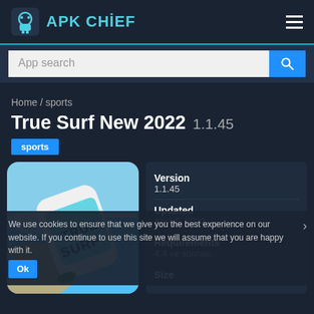APK CHİEF
App search
Home / sports
True Surf New 2022 1.1.45
sports
[Figure (photo): True Surf app icon showing a surfboard on a beach with 'TRUE SURF' text in blue]
Version
1.1.45
Updated
April 5, 2022
Requirements
4.4 ve sonrası
Size
We use cookies to ensure that we give you the best experience on our website. If you continue to use this site we will assume that you are happy with it.
Ok